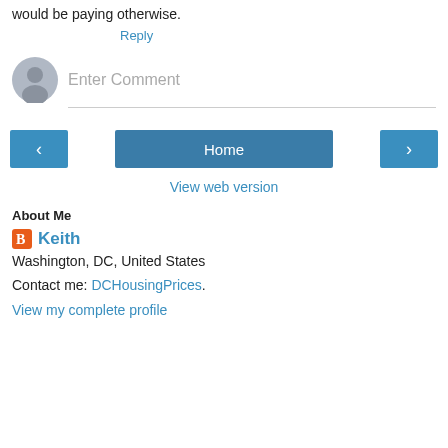would be paying otherwise.
Reply
[Figure (illustration): Gray user avatar circle icon for comment input]
Enter Comment
[Figure (illustration): Navigation buttons: left arrow, Home, right arrow]
View web version
About Me
[Figure (logo): Blogger orange B icon]
Keith
Washington, DC, United States
Contact me: DCHousingPrices.
View my complete profile